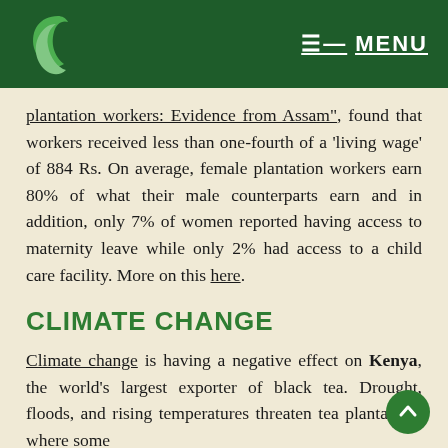MENU
plantation workers: Evidence from Assam", found that workers received less than one-fourth of a 'living wage' of 884 Rs. On average, female plantation workers earn 80% of what their male counterparts earn and in addition, only 7% of women reported having access to maternity leave while only 2% had access to a child care facility. More on this here.
CLIMATE CHANGE
Climate change is having a negative effect on Kenya, the world's largest exporter of black tea. Drought, floods, and rising temperatures threaten tea plantations where some